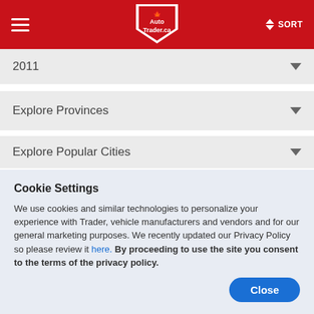AutoTrader.ca — SORT
2011
Explore Provinces
Explore Popular Cities
Cookie Settings
We use cookies and similar technologies to personalize your experience with Trader, vehicle manufacturers and vendors and for our general marketing purposes. We recently updated our Privacy Policy so please review it here. By proceeding to use the site you consent to the terms of the privacy policy.